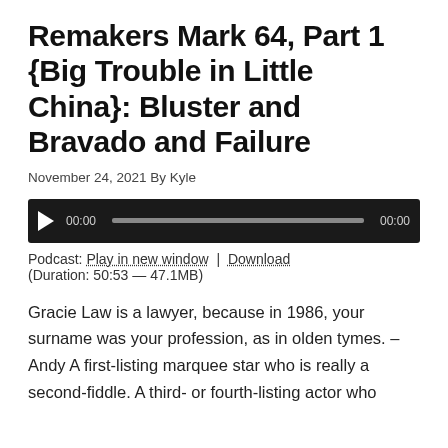Remakers Mark 64, Part 1 {Big Trouble in Little China}: Bluster and Bravado and Failure
November 24, 2021 By Kyle
[Figure (other): Audio player with play button, time display 00:00, progress bar, and end time 00:00 on dark background]
Podcast: Play in new window | Download
(Duration: 50:53 — 47.1MB)
Gracie Law is a lawyer, because in 1986, your surname was your profession, as in olden tymes. – Andy A first-listing marquee star who is really a second-fiddle. A third- or fourth-listing actor who